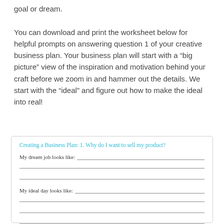goal or dream.
You can download and print the worksheet below for helpful prompts on answering question 1 of your creative business plan. Your business plan will start with a “big picture” view of the inspiration and motivation behind your craft before we zoom in and hammer out the details. We start with the “ideal” and figure out how to make the ideal into real!
[Figure (other): Worksheet box with handwritten-style text. Title: 'Creating a Business Plan: 1. Why do I want to sell my product?' with fill-in prompts: 'My dream job looks like:' with lines, 'My ideal day looks like:' with lines, 'Why did I start crafting?' with a line.]